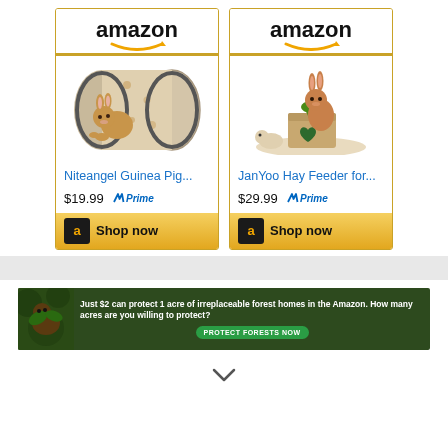[Figure (screenshot): Amazon product ad card for Niteangel Guinea Pig tunnel toy, price $19.99 with Prime, Shop now button]
[Figure (screenshot): Amazon product ad card for JanYoo Hay Feeder for rabbits, price $29.99 with Prime, Shop now button]
[Figure (screenshot): Forest conservation banner ad: 'Just $2 can protect 1 acre of irreplaceable forest homes in the Amazon. How many acres are you willing to protect?' with PROTECT FORESTS NOW button]